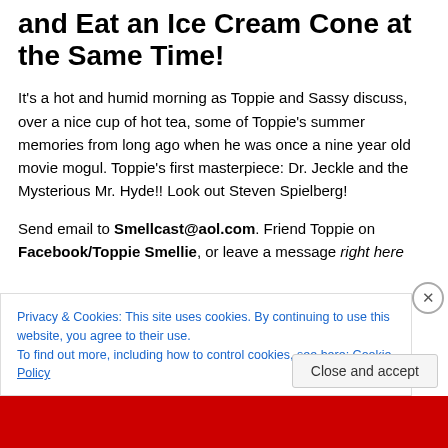and Eat an Ice Cream Cone at the Same Time!
It’s a hot and humid morning as Toppie and Sassy discuss, over a nice cup of hot tea, some of Toppie’s summer memories from long ago when he was once a nine year old movie mogul. Toppie’s first masterpiece: Dr. Jeckle and the Mysterious Mr. Hyde!! Look out Steven Spielberg!
Send email to Smellcast@aol.com. Friend Toppie on Facebook/Toppie Smellie, or leave a message right here on Toppie’s blog.
Privacy & Cookies: This site uses cookies. By continuing to use this website, you agree to their use.
To find out more, including how to control cookies, see here: Cookie Policy
Close and accept